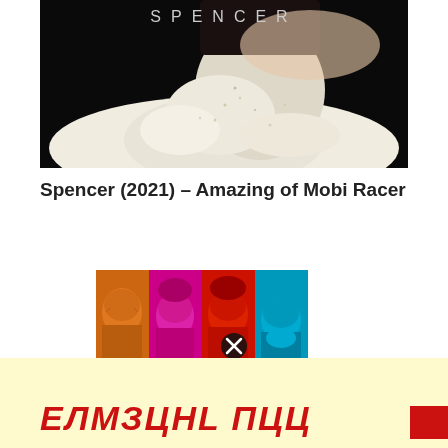[Figure (photo): Movie poster for Spencer (2021) showing a woman in an ornate white/silver ballgown against a dark background, with the text SPENCER at the top]
Spencer (2021) – Amazing of Mobi Racer
[Figure (photo): A colorized cast photo strip showing four faces: an older man tinted orange, a young woman tinted magenta/pink, a man tinted red, and a man tinted cyan/blue. A close button (X in circle) overlays the third face.]
[Figure (screenshot): Yellow/cream background section at bottom with partially visible red stylized text, and a dark red box in the bottom right corner.]